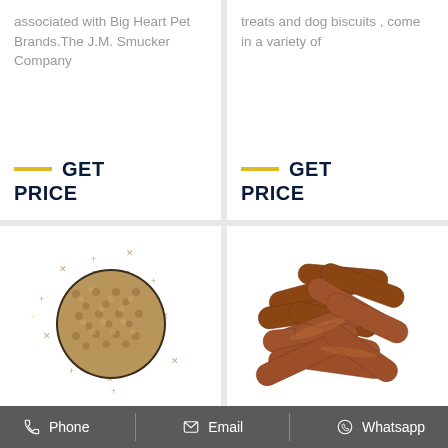associated with Big Heart Pet Brands.The J.M. Smucker Company
GET PRICE
treats and dog biscuits , come in a variety of
GET PRICE
[Figure (photo): Round bowl of dry pet food kibble with decorative star/cross marks scattered around it]
[Figure (photo): Pile of brown dog treat sticks/chews]
Phone   Email   Whatsapp